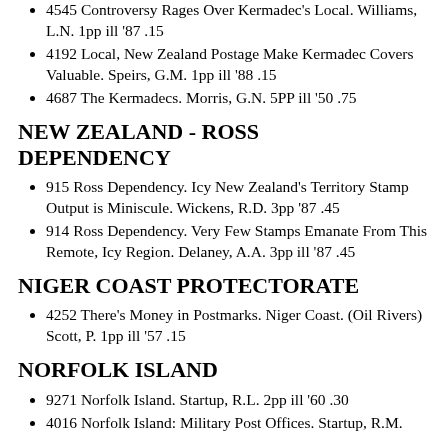4545 Controversy Rages Over Kermadec's Local. Williams, L.N. 1pp ill '87 .15
4192 Local, New Zealand Postage Make Kermadec Covers Valuable. Speirs, G.M. 1pp ill '88 .15
4687 The Kermadecs. Morris, G.N. 5PP ill '50 .75
NEW ZEALAND - ROSS DEPENDENCY
915 Ross Dependency. Icy New Zealand's Territory Stamp Output is Miniscule. Wickens, R.D. 3pp '87 .45
914 Ross Dependency. Very Few Stamps Emanate From This Remote, Icy Region. Delaney, A.A. 3pp ill '87 .45
NIGER COAST PROTECTORATE
4252 There's Money in Postmarks. Niger Coast. (Oil Rivers) Scott, P. 1pp ill '57 .15
NORFOLK ISLAND
9271 Norfolk Island. Startup, R.L. 2pp ill '60 .30
4016 Norfolk Island: Military Post Offices. Startup, R.M.